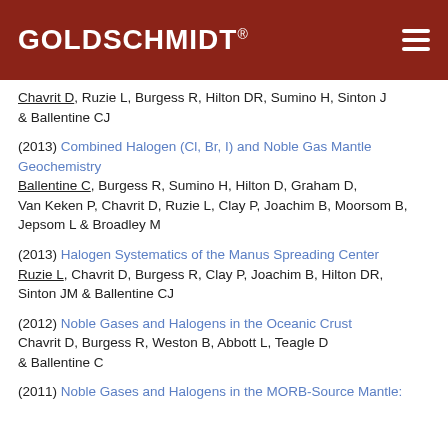GOLDSCHMIDT®
Chavrit D, Ruzie L, Burgess R, Hilton DR, Sumino H, Sinton J & Ballentine CJ
(2013) Combined Halogen (Cl, Br, I) and Noble Gas Mantle Geochemistry
Ballentine C, Burgess R, Sumino H, Hilton D, Graham D, Van Keken P, Chavrit D, Ruzie L, Clay P, Joachim B, Moorsom B, Jepsom L & Broadley M
(2013) Halogen Systematics of the Manus Spreading Center
Ruzie L, Chavrit D, Burgess R, Clay P, Joachim B, Hilton DR, Sinton JM & Ballentine CJ
(2012) Noble Gases and Halogens in the Oceanic Crust
Chavrit D, Burgess R, Weston B, Abbott L, Teagle D & Ballentine C
(2011) Noble Gases and Halogens in the MORB-Source Mantle: